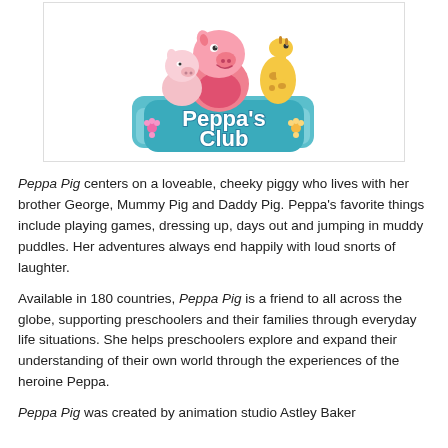[Figure (logo): Peppa's Club logo with Peppa Pig characters (Peppa, a smaller pig, and a giraffe) sitting in a blue toy box. The logo text reads "Peppa's Club" in white lettering on a teal/blue background with flowers and a heart.]
Peppa Pig centers on a loveable, cheeky piggy who lives with her brother George, Mummy Pig and Daddy Pig. Peppa's favorite things include playing games, dressing up, days out and jumping in muddy puddles. Her adventures always end happily with loud snorts of laughter.
Available in 180 countries, Peppa Pig is a friend to all across the globe, supporting preschoolers and their families through everyday life situations. She helps preschoolers explore and expand their understanding of their own world through the experiences of the heroine Peppa.
Peppa Pig was created by animation studio Astley Baker